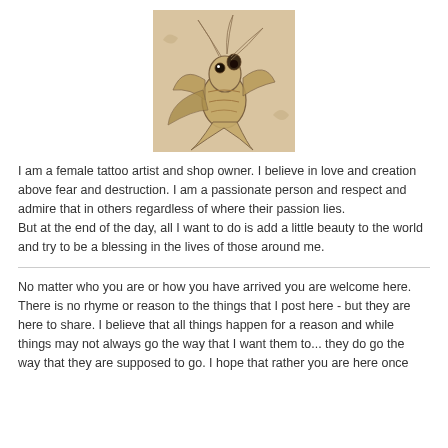[Figure (illustration): Illustration of a fantail goldfish with its mouth open, rendered in a sketchy artistic style with warm beige/tan tones on a sandy background. The fish is depicted swimming upward with flowing fins.]
I am a female tattoo artist and shop owner. I believe in love and creation above fear and destruction. I am a passionate person and respect and admire that in others regardless of where their passion lies.
But at the end of the day, all I want to do is add a little beauty to the world and try to be a blessing in the lives of those around me.
No matter who you are or how you have arrived you are welcome here. There is no rhyme or reason to the things that I post here - but they are here to share. I believe that all things happen for a reason and while things may not always go the way that I want them to... they do go the way that they are supposed to go. I hope that rather you are here once